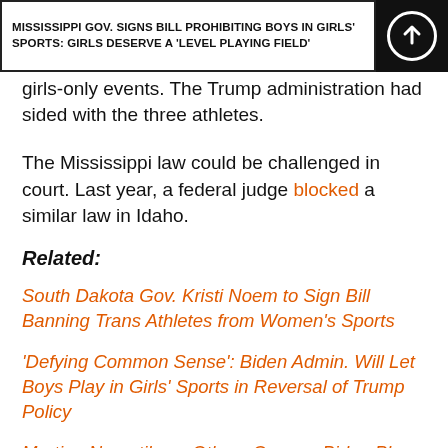MISSISSIPPI GOV. SIGNS BILL PROHIBITING BOYS IN GIRLS' SPORTS: GIRLS DESERVE A 'LEVEL PLAYING FIELD'
girls-only events. The Trump administration had sided with the three athletes.
The Mississippi law could be challenged in court. Last year, a federal judge blocked a similar law in Idaho.
Related:
South Dakota Gov. Kristi Noem to Sign Bill Banning Trans Athletes from Women's Sports
'Defying Common Sense': Biden Admin. Will Let Boys Play in Girls' Sports in Reversal of Trump Policy
Martina Navratilova, Others Oppose Biden Plan to Allow Boys in Girls' Sports: It's 'Frightening'